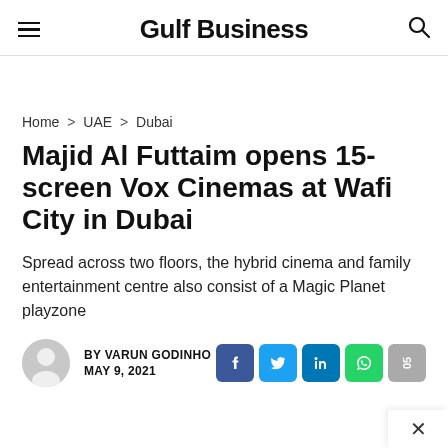Gulf Business
Home > UAE > Dubai
Majid Al Futtaim opens 15-screen Vox Cinemas at Wafi City in Dubai
Spread across two floors, the hybrid cinema and family entertainment centre also consist of a Magic Planet playzone
BY VARUN GODINHO
MAY 9, 2021